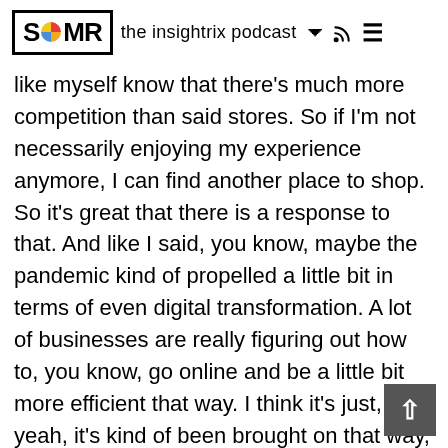SOMR the insightrix podcast
like myself know that there's much more competition than said stores. So if I'm not necessarily enjoying my experience anymore, I can find another place to shop. So it's great that there is a response to that. And like I said, you know, maybe the pandemic kind of propelled a little bit in terms of even digital transformation. A lot of businesses are really figuring out how to, you know, go online and be a little bit more efficient that way. I think it's just, yeah, it's kind of been brought on that way, but you know, we were on the topic, we might as well continue on it. You